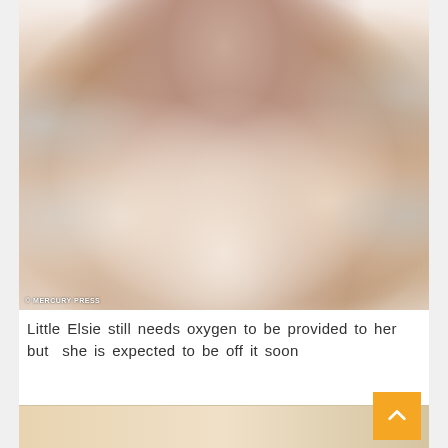[Figure (photo): A baby wrapped in a fluffy beige hooded bathrobe, lying on a white patterned bedsheet. The baby's hands and legs are visible peeking out from the robe. Photo credit: Mercury Press.]
Little Elsie still needs oxygen to be provided to her but  she is expected to be off it soon
[Figure (photo): Partial view of another photo, cropped at the bottom of the page.]